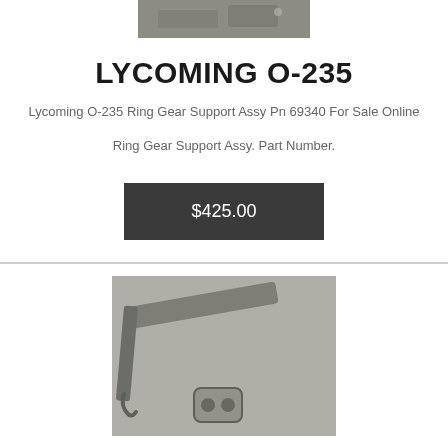[Figure (photo): Top partial photo of a metal engine part on gray background (cropped at top)]
LYCOMING O-235
Lycoming O-235 Ring Gear Support Assy Pn 69340 For Sale Online
Ring Gear Support Assy. Part Number.
$425.00
[Figure (photo): Photo of a metal ring gear support assembly part and a small bracket with two holes, placed on a gray surface]